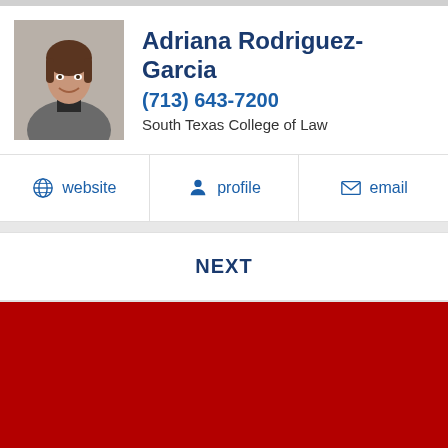[Figure (photo): Headshot photo of Adriana Rodriguez-Garcia]
Adriana Rodriguez-Garcia
(713) 643-7200
South Texas College of Law
website  profile  email
NEXT